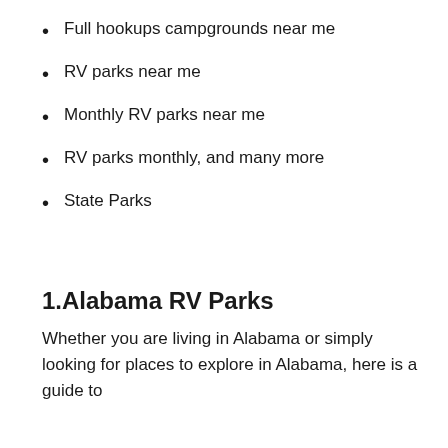Full hookups campgrounds near me
RV parks near me
Monthly RV parks near me
RV parks monthly, and many more
State Parks
1.Alabama RV Parks
Whether you are living in Alabama or simply looking for places to explore in Alabama, here is a guide to